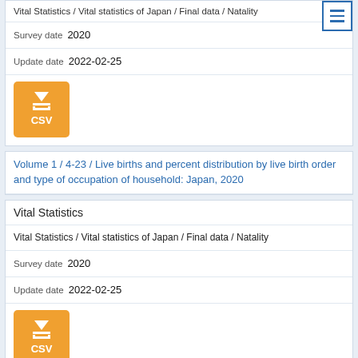Vital Statistics / Vital statistics of Japan / Final data / Natality
Survey date  2020
Update date  2022-02-25
[Figure (other): Orange CSV download button with download icon]
Volume 1 / 4-23 / Live births and percent distribution by live birth order and type of occupation of household: Japan, 2020
Vital Statistics
Vital Statistics / Vital statistics of Japan / Final data / Natality
Survey date  2020
Update date  2022-02-25
[Figure (other): Orange CSV download button with download icon]